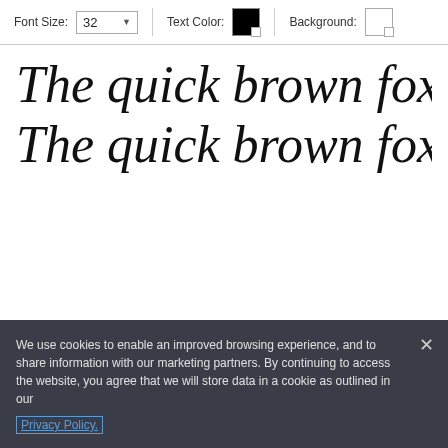[Figure (screenshot): Toolbar with Font Size: 32 dropdown, Text Color: black swatch, Background: white swatch]
The quick brown fox jumps
The quick brown fox jumps
We use cookies to enable an improved browsing experience, and to share information with our marketing partners. By continuing to access the website, you agree that we will store data in a cookie as outlined in our Privacy Policy.